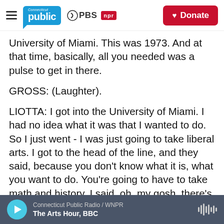Connecticut Public · PBS · NPR | Donate
University of Miami. This was 1973. And at that time, basically, all you needed was a pulse to get in there.
GROSS: (Laughter).
LIOTTA: I got into the University of Miami. I had no idea what it was that I wanted to do. So I just went - I was just going to take liberal arts. I got to the head of the line, and they said, because you don't know what it is, what you want to do. You're going to have to take math and history. I said, oh, my gosh, there's
Connecticut Public Radio / WNPR — The Arts Hour, BBC